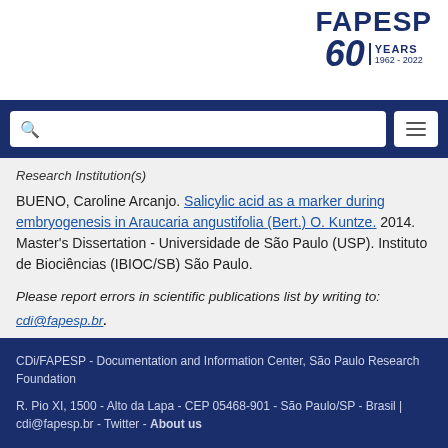[Figure (logo): FAPESP 60 Years 1962-2022 logo in dark navy blue]
[Figure (screenshot): Navigation bar with search box and hamburger menu on dark blue background]
Research Institution(s)
BUENO, Caroline Arcanjo. Salicylic acid as a marker during embryogenesis in Araucaria angustifolia (Bert.) O. Kuntze. 2014. Master's Dissertation - Universidade de São Paulo (USP). Instituto de Biociências (IBIOC/SB) São Paulo.
Please report errors in scientific publications list by writing to: cdi@fapesp.br.
CDi/FAPESP - Documentation and Information Center, São Paulo Research Foundation
R. Pio XI, 1500 - Alto da Lapa - CEP 05468-901 - São Paulo/SP - Brasil | cdi@fapesp.br - Twitter - About us